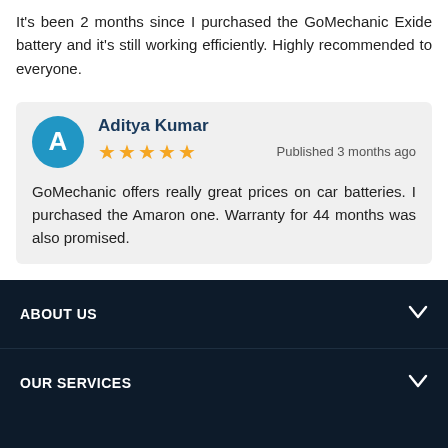It's been 2 months since I purchased the GoMechanic Exide battery and it's still working efficiently. Highly recommended to everyone.
Aditya Kumar
[Figure (other): User avatar circle with letter A, blue background]
★★★★★ Published 3 months ago
GoMechanic offers really great prices on car batteries. I purchased the Amaron one. Warranty for 44 months was also promised.
See more
ABOUT US
OUR SERVICES